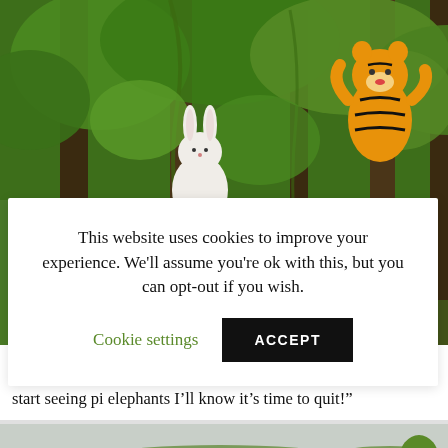[Figure (photo): Forest scene with tall trees, dense green foliage, a white/pink bunny plush toy on the left and a Tigger stuffed animal on the right among the trees]
This website uses cookies to improve your experience. We'll assume you're ok with this, but you can opt-out if you wish.
Cookie settings   ACCEPT
It was now accompanied by a pink bunny! Whatever next? “If I start seeing pi elephants I’ll know it’s time to quit!”
[Figure (photo): Open green countryside/park landscape with gentle hills in the background under an overcast sky, people visible in the distance]